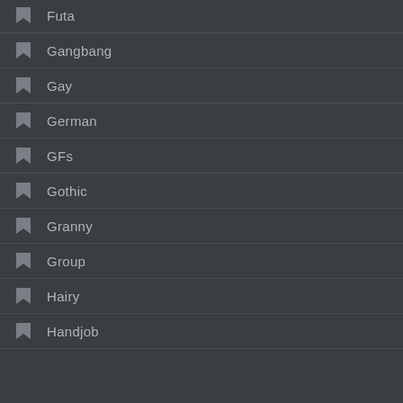Futa
Gangbang
Gay
German
GFs
Gothic
Granny
Group
Hairy
Handjob